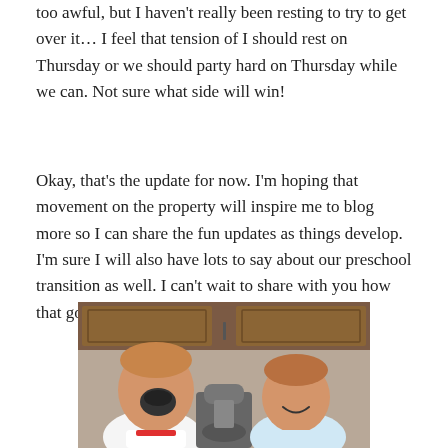too awful, but I haven't really been resting to try to get over it… I feel that tension of I should rest on Thursday or we should party hard on Thursday while we can. Not sure what side will win!
Okay, that's the update for now. I'm hoping that movement on the property will inspire me to blog more so I can share the fun updates as things develop. I'm sure I will also have lots to say about our preschool transition as well. I can't wait to share with you how that goes next week!
[Figure (photo): Two young boys sitting at a kitchen counter with a stand mixer between them. The boy on the left is laughing with his mouth wide open, wearing a white t-shirt with a red collar. The boy on the right is smiling, wearing a light blue shirt. Dark wood kitchen cabinets are visible in the background.]